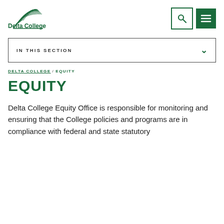[Figure (logo): Delta College logo with green arc lines above text]
Delta College
IN THIS SECTION
DELTA COLLEGE / EQUITY
EQUITY
Delta College Equity Office is responsible for monitoring and ensuring that the College policies and programs are in compliance with federal and state statutory